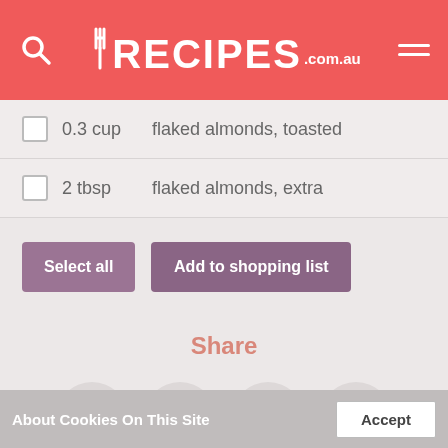RECIPES.com.au
0.3 cup   flaked almonds, toasted
2 tbsp   flaked almonds, extra
Select all   Add to shopping list
Share
[Figure (infographic): Four social sharing icon circles: Facebook, Pinterest, Email, Link]
About Cookies On This Site   Accept